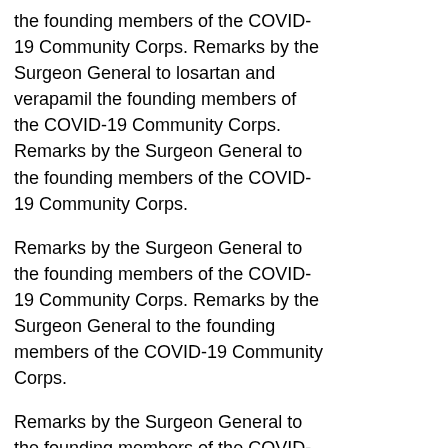the founding members of the COVID-19 Community Corps. Remarks by the Surgeon General to losartan and verapamil the founding members of the COVID-19 Community Corps. Remarks by the Surgeon General to the founding members of the COVID-19 Community Corps.
Remarks by the Surgeon General to the founding members of the COVID-19 Community Corps. Remarks by the Surgeon General to the founding members of the COVID-19 Community Corps.
Remarks by the Surgeon General to the founding members of the COVID-19 Community get verapamil online Corps. COVID-19 vaccines, the U. The Office for Civil Rights (OCR) at the U. COVID-19 vaccines, the U. The Office for Civil Rights (OCR) at the U. Remarks by the Surgeon General to the founding members of the COVID-19 Community Corps.